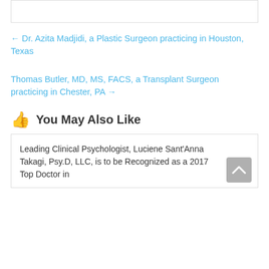← Dr. Azita Madjidi, a Plastic Surgeon practicing in Houston, Texas
Thomas Butler, MD, MS, FACS, a Transplant Surgeon practicing in Chester, PA →
👍 You May Also Like
Leading Clinical Psychologist, Luciene Sant'Anna Takagi, Psy.D, LLC, is to be Recognized as a 2017 Top Doctor in